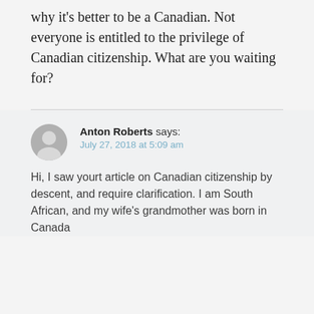why it's better to be a Canadian. Not everyone is entitled to the privilege of Canadian citizenship. What are you waiting for?
Anton Roberts says: July 27, 2018 at 5:09 am
Hi, I saw yourt article on Canadian citizenship by descent, and require clarification. I am South African, and my wife's grandmother was born in Canada